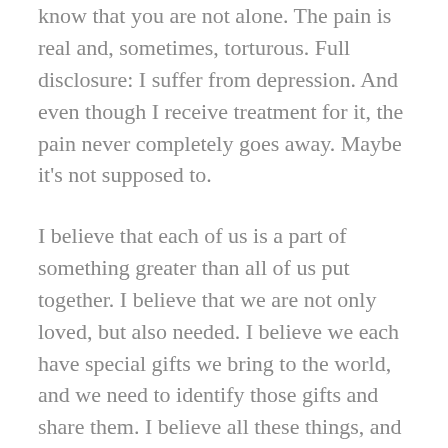know that you are not alone. The pain is real and, sometimes, torturous. Full disclosure: I suffer from depression. And even though I receive treatment for it, the pain never completely goes away. Maybe it's not supposed to.
I believe that each of us is a part of something greater than all of us put together. I believe that we are not only loved, but also needed. I believe we each have special gifts we bring to the world, and we need to identify those gifts and share them. I believe all these things, and yet, have trouble remembering them because there's always that